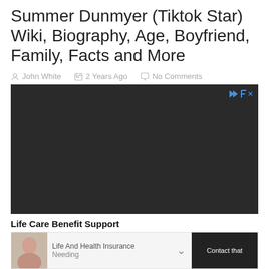Summer Dunmyer (Tiktok Star) Wiki, Biography, Age, Boyfriend, Family, Facts and More
John White   2 Years Ago   No Comments
[Figure (photo): Close-up photo of a dark computer keyboard with a highlighted key labeled 'Financial Aid' in white bold text on a light gray/blue key. The 'Enter' key is visible at the top and 'Ctrl' at the bottom.]
Life Care Benefit Support
Life And Health Insurance   Needing   Contact that